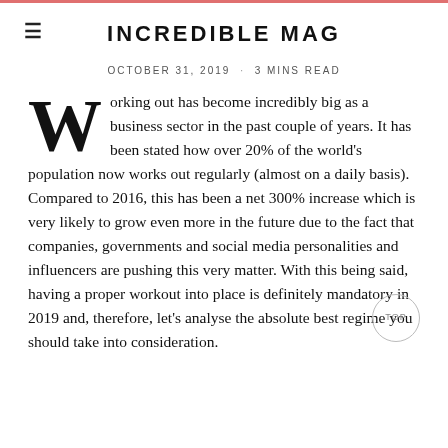INCREDIBLE MAG
OCTOBER 31, 2019 · 3 MINS READ
Working out has become incredibly big as a business sector in the past couple of years. It has been stated how over 20% of the world's population now works out regularly (almost on a daily basis). Compared to 2016, this has been a net 300% increase which is very likely to grow even more in the future due to the fact that companies, governments and social media personalities and influencers are pushing this very matter. With this being said, having a proper workout into place is definitely mandatory in 2019 and, therefore, let's analyse the absolute best regime you should take into consideration.